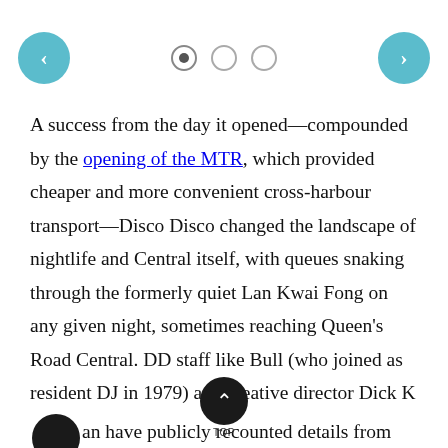[Figure (other): Navigation bar with left arrow button (teal circle), three pagination dots (first filled, two empty), and right arrow button (teal circle)]
A success from the day it opened—compounded by the opening of the MTR, which provided cheaper and more convenient cross-harbour transport—Disco Disco changed the landscape of nightlife and Central itself, with queues snaking through the formerly quiet Lan Kwai Fong on any given night, sometimes reaching Queen's Road Central. DD staff like Bull (who joined as resident DJ in 1979) and creative director Dick K[scroll-top button]an have publicly recounted details from Huthart's extravagant parties—chickens, ducks, and horses at the country-